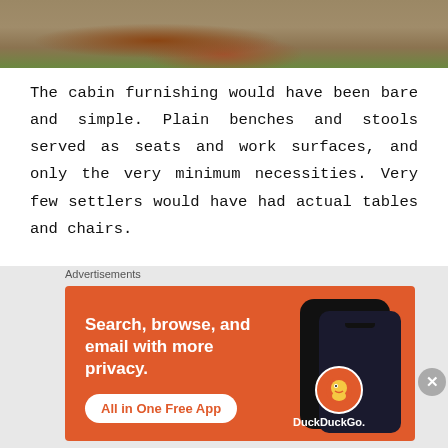[Figure (photo): Bottom portion of an outdoor photo showing grass and dirt ground with a tree stump and log]
The cabin furnishing would have been bare and simple. Plain benches and stools served as seats and work surfaces, and only the very minimum necessities. Very few settlers would have had actual tables and chairs.
See down below:
[Figure (photo): Interior of a log cabin showing wooden ceiling/roof logs]
Advertisements
[Figure (other): DuckDuckGo advertisement banner: Search, browse, and email with more privacy. All in One Free App. Shows DuckDuckGo logo on an orange background with phone graphic.]